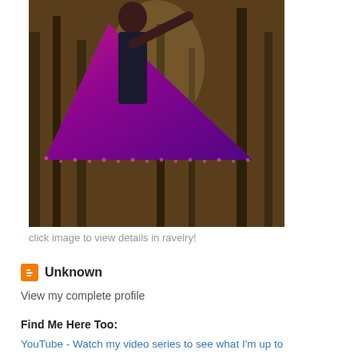[Figure (photo): Woman wearing a large purple-to-red gradient crocheted shawl, standing outdoors among trees]
click image to view details in ravelry!
Unknown
View my complete profile
Find Me Here Too:
YouTube - Watch my video series to see what I'm up to
Ravelry - Find my designs & Interact with like-minded crafters in the forums
Instagram - Regular updates of what I'm working on
Facebook - Like my page for latest info
Lorraine Pugh Designs Project Bag - a Facebook Group where you can sha
Featured post